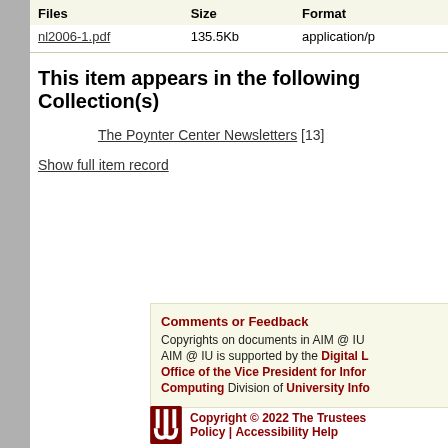| Files | Size | Format |
| --- | --- | --- |
| nl2006-1.pdf | 135.5Kb | application/p |
This item appears in the following Collection(s)
The Poynter Center Newsletters [13]
Show full item record
Comments or Feedback
Copyrights on documents in AIM @ IU
AIM @ IU is supported by the Digital L
Office of the Vice President for Infor
Computing Division of University Info
Copyright © 2022 The Trustees Policy | Accessibility Help